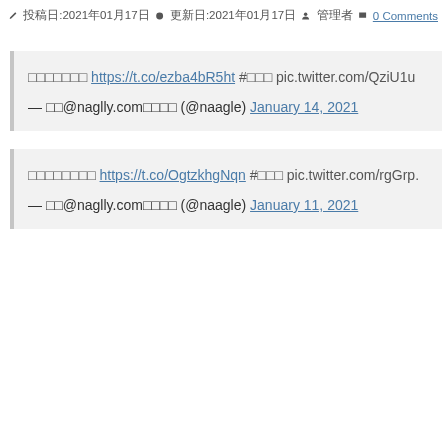投稿日:2021年01月17日 更新日:2021年01月17日 投稿者 管理者 0 Comments
□□□□□□□ https://t.co/ezba4bR5ht #□□□ pic.twitter.com/QziU1u...
— □□@naglly.com□□□□ (@naagle) January 14, 2021
□□□□□□□□ https://t.co/OgtzkhgNqn #□□□ pic.twitter.com/rgGrp....
— □□@naglly.com□□□□ (@naagle) January 11, 2021